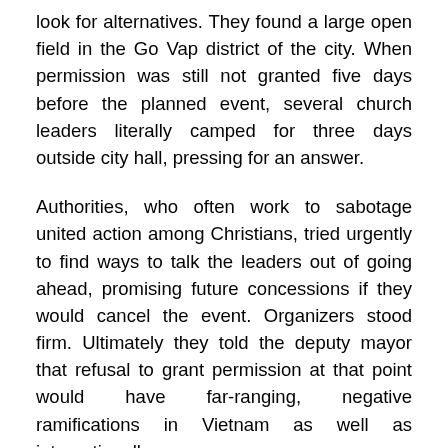look for alternatives. They found a large open field in the Go Vap district of the city. When permission was still not granted five days before the planned event, several church leaders literally camped for three days outside city hall, pressing for an answer.
Authorities, who often work to sabotage united action among Christians, tried urgently to find ways to talk the leaders out of going ahead, promising future concessions if they would cancel the event. Organizers stood firm. Ultimately they told the deputy mayor that refusal to grant permission at that point would have far-ranging, negative ramifications in Vietnam as well as internationally.
Finally, at the close of business on Dec. 9, just 48 hours before the scheduled event, officials granted permission that required clearance all the way to Hanoi. But the